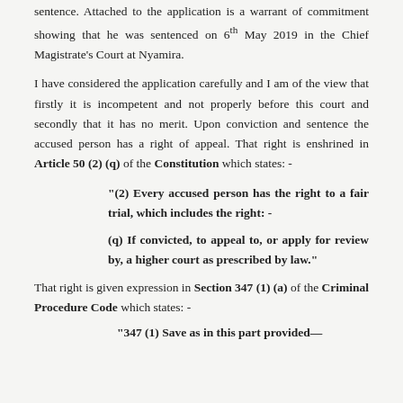sentence. Attached to the application is a warrant of commitment showing that he was sentenced on 6th May 2019 in the Chief Magistrate's Court at Nyamira.
I have considered the application carefully and I am of the view that firstly it is incompetent and not properly before this court and secondly that it has no merit. Upon conviction and sentence the accused person has a right of appeal. That right is enshrined in Article 50 (2) (q) of the Constitution which states: -
“(2) Every accused person has the right to a fair trial, which includes the right: -
(q) If convicted, to appeal to, or apply for review by, a higher court as prescribed by law.”
That right is given expression in Section 347 (1) (a) of the Criminal Procedure Code which states: -
“347 (1) Save as in this part provided—